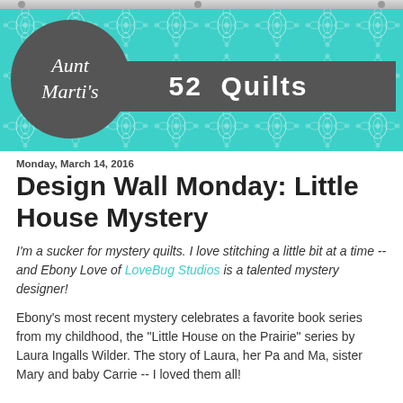[Figure (logo): Aunt Marti's 52 Quilts blog header banner with teal damask background, gray circular logo with 'Aunt Marti's' text in cursive, and gray ribbon banner with '52 Quilts' text]
Monday, March 14, 2016
Design Wall Monday: Little House Mystery
I'm a sucker for mystery quilts. I love stitching a little bit at a time -- and Ebony Love of LoveBug Studios is a talented mystery designer!
Ebony's most recent mystery celebrates a favorite book series from my childhood, the "Little House on the Prairie" series by Laura Ingalls Wilder. The story of Laura, her Pa and Ma, sister Mary and baby Carrie -- I loved them all!